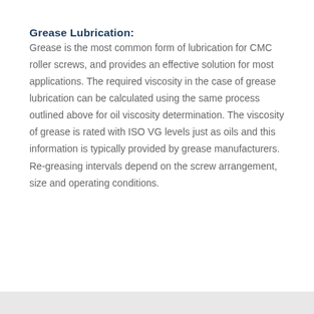Grease Lubrication:
Grease is the most common form of lubrication for CMC roller screws, and provides an effective solution for most applications. The required viscosity in the case of grease lubrication can be calculated using the same process outlined above for oil viscosity determination. The viscosity of grease is rated with ISO VG levels just as oils and this information is typically provided by grease manufacturers. Re-greasing intervals depend on the screw arrangement, size and operating conditions.